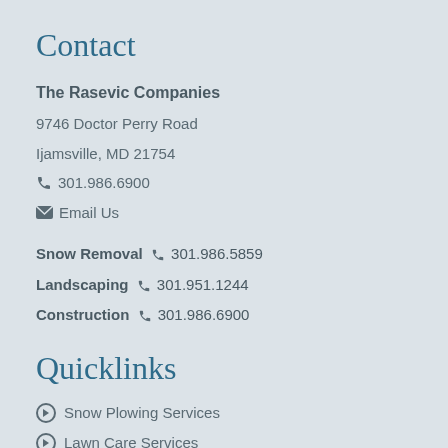Contact
The Rasevic Companies
9746 Doctor Perry Road
Ijamsville, MD 21754
☎ 301.986.6900
✉ Email Us
Snow Removal ☎ 301.986.5859
Landscaping ☎ 301.951.1244
Construction ☎ 301.986.6900
Quicklinks
Snow Plowing Services
Lawn Care Services
Landscape Design Services